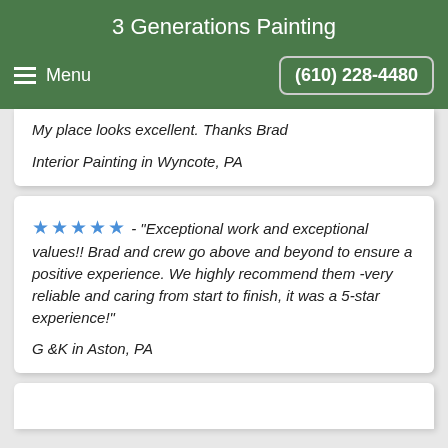3 Generations Painting
Menu   (610) 228-4480
My place looks excellent. Thanks Brad
Interior Painting in Wyncote, PA
★★★★★ - "Exceptional work and exceptional values!! Brad and crew go above and beyond to ensure a positive experience. We highly recommend them -very reliable and caring from start to finish, it was a 5-star experience!"
G &K in Aston, PA